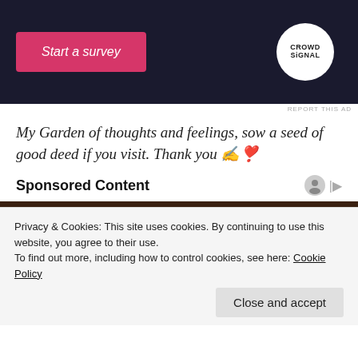[Figure (screenshot): Dark navy advertisement banner with a pink 'Start a survey' button on the left and the CrowdSignal logo (white circle on dark background) on the right. Small 'REPORT THIS AD' text below right.]
My Garden of thoughts and feelings, sow a seed of good deed if you visit. Thank you ✍️❣️
Sponsored Content
[Figure (photo): Close-up photo of a man's face against a dark green background.]
Privacy & Cookies: This site uses cookies. By continuing to use this website, you agree to their use.
To find out more, including how to control cookies, see here: Cookie Policy